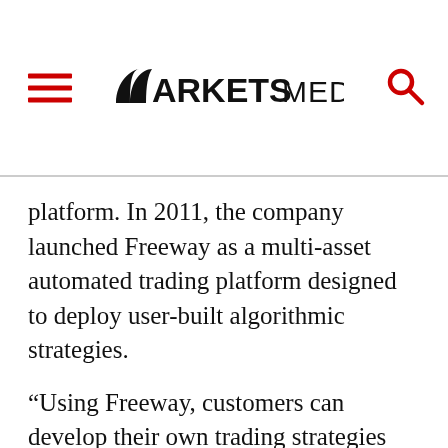MARKETS MEDIA
platform. In 2011, the company launched Freeway as a multi-asset automated trading platform designed to deploy user-built algorithmic strategies.
“Using Freeway, customers can develop their own trading strategies and deploy them on the server with low latency, co-located next to an exchange,” Dawani said. “Now, we have taken that to the next level by allowing customers to develop their own widgets